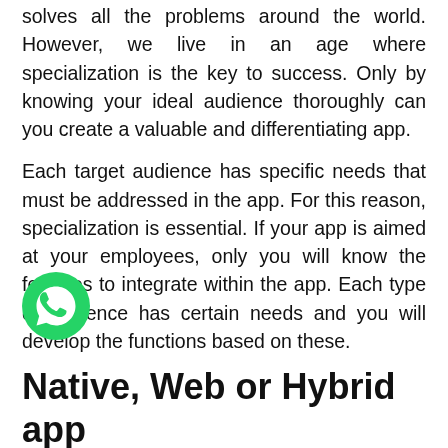solves all the problems around the world. However, we live in an age where specialization is the key to success. Only by knowing your ideal audience thoroughly can you create a valuable and differentiating app.
Each target audience has specific needs that must be addressed in the app. For this reason, specialization is essential. If your app is aimed at your employees, only you will know the features to integrate within the app. Each type of audience has certain needs and you will develop the functions based on these.
Native, Web or Hybrid app
You need to determine the type of app you will